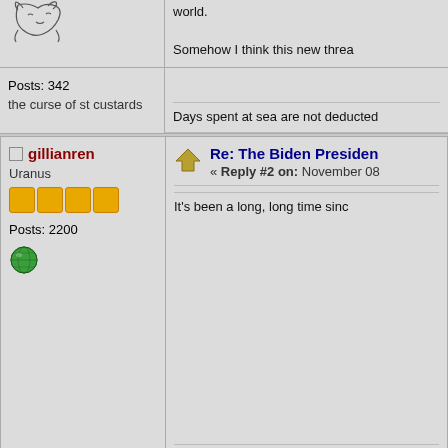[Figure (illustration): Forum avatar - stylized animal/creature sketch]
Posts: 342
the curse of st custards
world.
Somehow I think this new threa
Days spent at sea are not deducted
gillianren
Uranus
Posts: 2200
[Figure (illustration): Globe/earth icon in green]
Re: The Biden Presiden
« Reply #2 on: November 08
It's been a long, long time sinc
"This sounds like a job for Bipolar Be
"Conspiracy theories are an irresisti